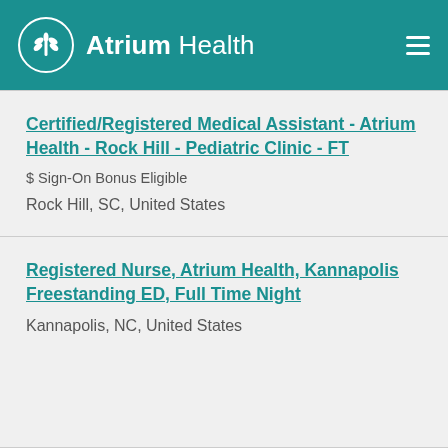Atrium Health
Certified/Registered Medical Assistant - Atrium Health - Rock Hill - Pediatric Clinic - FT
$ Sign-On Bonus Eligible
Rock Hill, SC, United States
Registered Nurse, Atrium Health, Kannapolis Freestanding ED, Full Time Night
Kannapolis, NC, United States